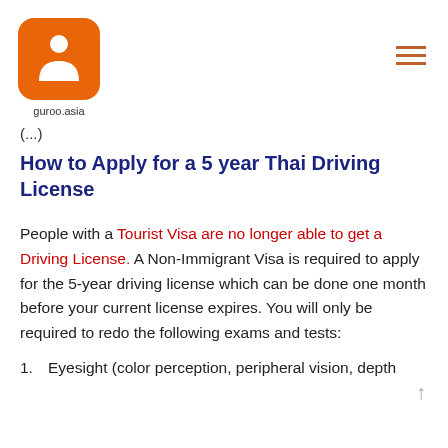[Figure (logo): guroo.asia logo — orange rounded square with white person/figure icon, text 'guroo.asia' below]
...
How to Apply for a 5 year Thai Driving License
People with a Tourist Visa are no longer able to get a Driving License. A Non-Immigrant Visa is required to apply for the 5-year driving license which can be done one month before your current license expires. You will only be required to redo the following exams and tests:
1.  Eyesight (color perception, peripheral vision, depth